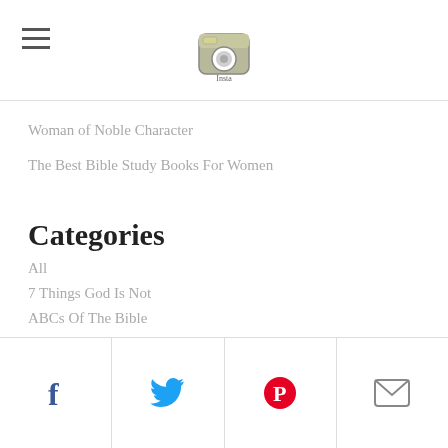Insta [logo]
Woman of Noble Character
The Best Bible Study Books For Women
Categories
All
7 Things God Is Not
ABCs Of The Bible
Amanda
Bible Study
Books We Love
Cami
Facebook | Twitter | Pinterest | Email